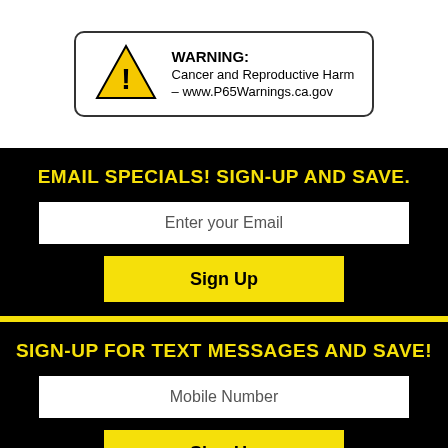[Figure (infographic): Proposition 65 warning box with yellow triangle caution symbol. Text reads: WARNING: Cancer and Reproductive Harm – www.P65Warnings.ca.gov]
EMAIL SPECIALS! SIGN-UP AND SAVE.
Enter your Email
Sign Up
SIGN-UP FOR TEXT MESSAGES AND SAVE!
Mobile Number
Sign Up
By subscribing to JEGS SMS, you consent to receive autodialed messages to the number provided. Message frequency may vary. Contact is at your own risk. Text